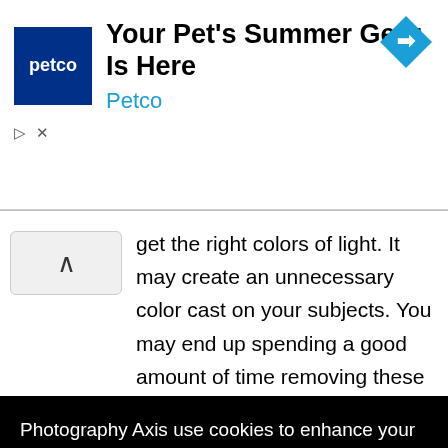[Figure (screenshot): Petco advertisement banner with blue Petco logo square, ad title 'Your Pet's Summer Gear Is Here', subtitle 'Petco', and a blue diamond navigation icon on the right]
get the right colors of light. It may create an unnecessary color cast on your subjects. You may end up spending a good amount of time removing these color casts during editing.
Photography Axis use cookies to enhance your user experience while using our website. To learn more about the cookies we use and the data we collect, please check our Privacy Settings.
I Accept